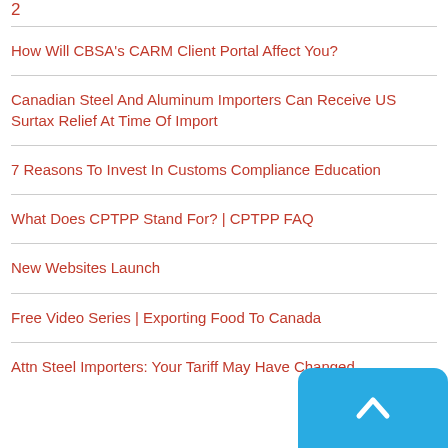2
How Will CBSA's CARM Client Portal Affect You?
Canadian Steel And Aluminum Importers Can Receive US Surtax Relief At Time Of Import
7 Reasons To Invest In Customs Compliance Education
What Does CPTPP Stand For? | CPTPP FAQ
New Websites Launch
Free Video Series | Exporting Food To Canada
Attn Steel Importers: Your Tariff May Have Changed